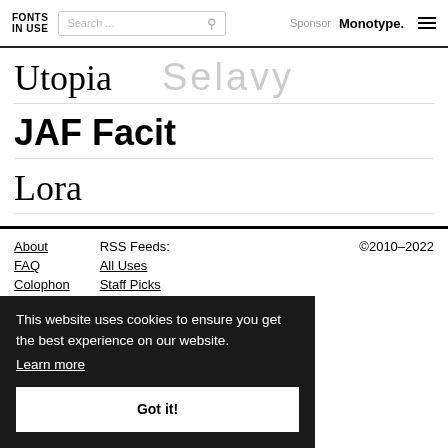FONTS IN USE | Search ... | Sponsor Monotype.
Utopia
JAF Facit
Lora
About | FAQ | Colophon | RSS Feeds: | All Uses | Staff Picks | ©2010–2022
This website uses cookies to ensure you get the best experience on our website. Learn more
Got it!